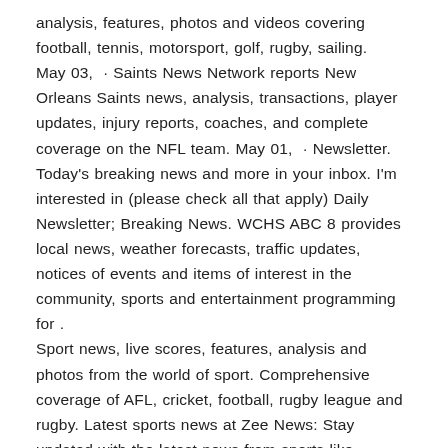analysis, features, photos and videos covering football, tennis, motorsport, golf, rugby, sailing. May 03,  · Saints News Network reports New Orleans Saints news, analysis, transactions, player updates, injury reports, coaches, and complete coverage on the NFL team. May 01,  · Newsletter. Today's breaking news and more in your inbox. I'm interested in (please check all that apply) Daily Newsletter; Breaking News. WCHS ABC 8 provides local news, weather forecasts, traffic updates, notices of events and items of interest in the community, sports and entertainment programming for . Sport news, live scores, features, analysis and photos from the world of sport. Comprehensive coverage of AFL, cricket, football, rugby league and rugby. Latest sports news at Zee News: Stay updated with the latest news from sports like football, cricket, tennis, golf, motor sports and others.